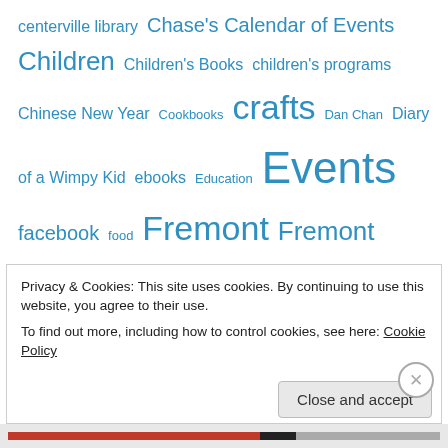centerville library Chase's Calendar of Events Children Children's Books children's programs Chinese New Year Cookbooks crafts Dan Chan Diary of a Wimpy Kid ebooks Education Events facebook food Fremont Fremont Library Fremont Main Library Fremont Unified School District fun FUSD games GROCO Halloween Harry Potter Harry Potter and the Half-Blood Prince Internet jobs Job Search kids Lawyer in the Library Libraries Library library programs
Privacy & Cookies: This site uses cookies. By continuing to use this website, you agree to their use.
To find out more, including how to control cookies, see here: Cookie Policy